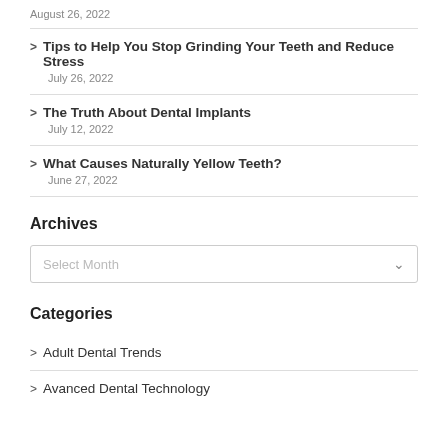August 26, 2022
Tips to Help You Stop Grinding Your Teeth and Reduce Stress
July 26, 2022
The Truth About Dental Implants
July 12, 2022
What Causes Naturally Yellow Teeth?
June 27, 2022
Archives
Select Month
Categories
Adult Dental Trends
Avanced Dental Technology